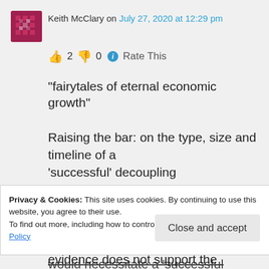Keith McClary on July 27, 2020 at 12:29 pm
👍 2 👎 0 ℹ Rate This
“fairytales of eternal economic growth”
Raising the bar: on the type, size and timeline of a ‘successful’ decoupling
24 Jun 2020
“A global GDP growth of 2% until 2050 would necessitate a ‘successful absolute
Privacy & Cookies: This site uses cookies. By continuing to use this website, you agree to their use.
To find out more, including how to control cookies, see here: Cookie Policy
Close and accept
evidence does not support the